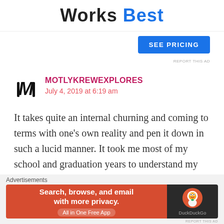Works Best
[Figure (other): Blue 'SEE PRICING' button]
REPORT THIS AD
MOTLYKREWEXPLORES
July 4, 2019 at 6:19 am
It takes quite an internal churning and coming to terms with one's own reality and pen it down in such a lucid manner. It took me most of my school and graduation years to understand my moods and pattern of behaviour, and now my relationship with my children is much better.
Advertisements
[Figure (infographic): DuckDuckGo advertisement banner: 'Search, browse, and email with more privacy. All in One Free App']